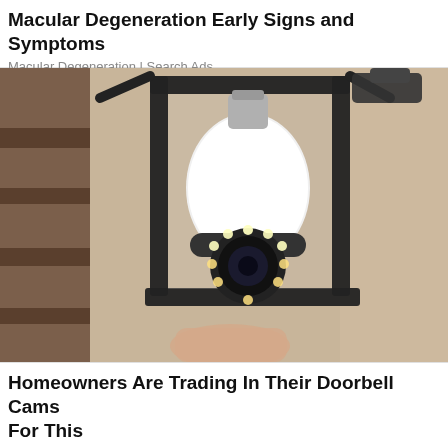Macular Degeneration Early Signs and Symptoms
Macular Degeneration | Search Ads
[Figure (photo): A person's hand installing or holding a light bulb-shaped security camera with a circular LED ring at the bottom, fitted inside a black outdoor lantern fixture mounted on a textured beige stucco wall.]
Homeowners Are Trading In Their Doorbell Cams For This